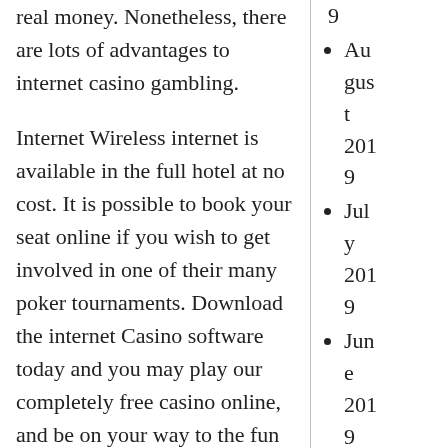real money. Nonetheless, there are lots of advantages to internet casino gambling.
Internet Wireless internet is available in the full hotel at no cost. It is possible to book your seat online if you wish to get involved in one of their many poker tournaments. Download the internet Casino software today and you may play our completely free casino online, and be on your way to the fun and excitement of Vegas style internet casino gaming!
9
August 2019
July 2019
June 2019
May 201